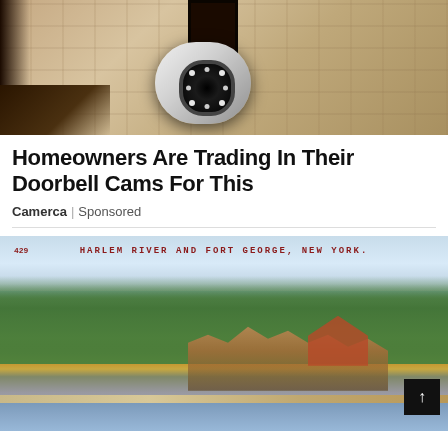[Figure (photo): Security camera mounted on a wall bracket against a stone/stucco wall background. The camera is white/silver with a circular lens and ring of LED lights.]
Homeowners Are Trading In Their Doorbell Cams For This
Camerca | Sponsored
[Figure (photo): Vintage postcard showing Harlem River and Fort George, New York. The image shows a hillside with an amusement park, roller coasters, and buildings. Text reads '429 HARLEM RIVER AND FORT GEORGE, NEW YORK.' A scroll-to-top button is visible in the bottom right corner.]